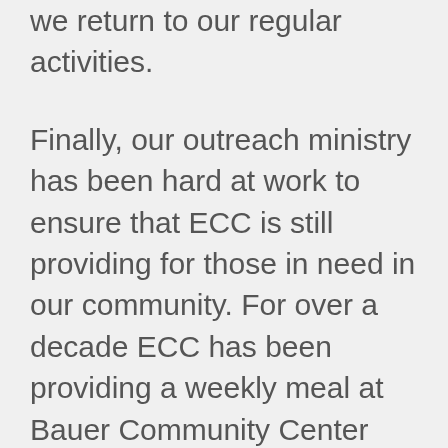we return to our regular activities.
Finally, our outreach ministry has been hard at work to ensure that ECC is still providing for those in need in our community. For over a decade ECC has been providing a weekly meal at Bauer Community Center every Thursday night. When the restrictions were put into place that public gatherings could not happen, Ronda Ooms and her team innovated and created an accessible drive-thru meal option.
Every Thursday night a team from ECC has handed out meals in a drive-thru model from the Bauer Community Center. The